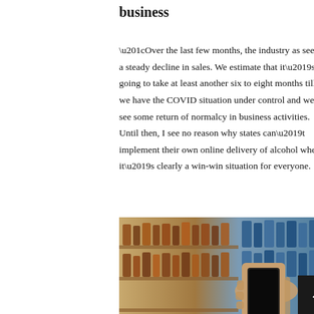business
“Over the last few months, the industry as seen a steady decline in sales. We estimate that it’s going to take at least another six to eight months till we have the COVID situation under control and we see some return of normalcy in business activities. Until then, I see no reason why states can’t implement their own online delivery of alcohol when it’s clearly a win-win situation for everyone.
[Figure (photo): Photo of a hand holding a smartphone in front of blurred liquor store shelves stocked with bottles]